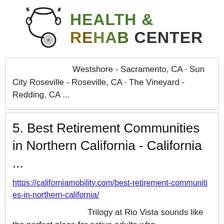[Figure (logo): Health & Rehab Center logo with stethoscope icon and gradient text]
Westshore - Sacramento, CA · Sun City Roseville - Roseville, CA · The Vineyard - Redding, CA ...
5. Best Retirement Communities in Northern California - California ...
https://californiamobility.com/best-retirement-communities-in-northern-california/
Trilogy at Rio Vista sounds like the perfect place for active adults who ...